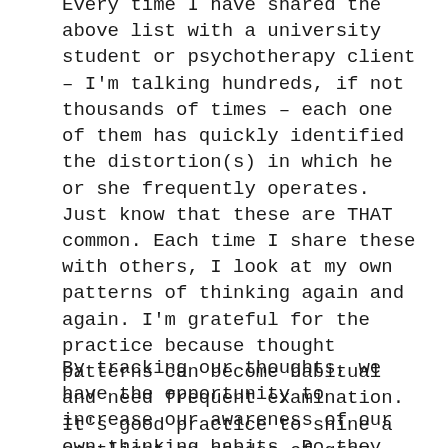Every time I have shared the above list with a university student or psychotherapy client – I'm talking hundreds, if not thousands of times – each one of them has quickly identified the distortion(s) in which he or she frequently operates. Just know that these are THAT common. Each time I share these with others, I look at my own patterns of thinking again and again. I'm grateful for the practice because thought patterns can become habitual and need frequent examination. It's good practice to shine a spotlight on shades of grey.
By tracking our thoughts, we have the opportunity to increase our awareness of our own thinking habits. Do they serve us or would it be best to make some changes? This awareness allows us to challenge ourselves and choose more adaptive thoughts for a